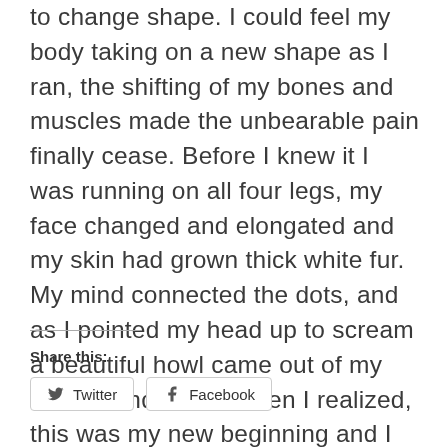to change shape. I could feel my body taking on a new shape as I ran, the shifting of my bones and muscles made the unbearable pain finally cease. Before I knew it I was running on all four legs, my face changed and elongated and my skin had grown thick white fur. My mind connected the dots, and as I pointed my head up to scream a beautiful howl came out of my mouth, and that is when I realized, this was my new beginning and I could not wait to see where it would take me.
Share this:
Twitter
Facebook